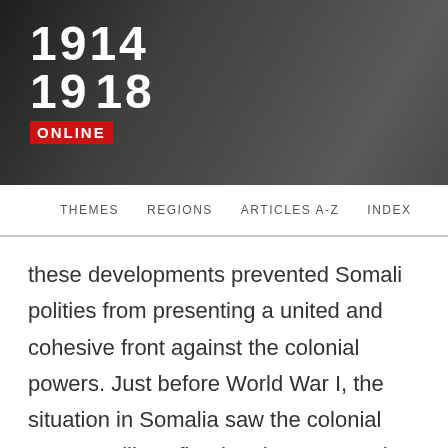1914 1918 ONLINE
THEMES   REGIONS   ARTICLES A-Z   INDEX
these developments prevented Somali polities from presenting a united and cohesive front against the colonial powers. Just before World War I, the situation in Somalia saw the colonial powers still confined to the coast at the same time as the threat posed by the Sayyid was contained in the northern part of the country.
Labour, Soldiers, and the